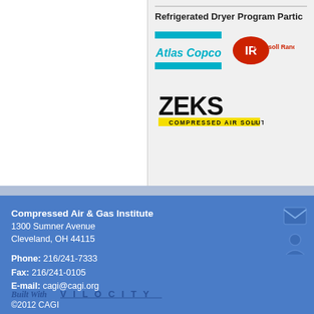[Figure (logo): Atlas Copco logo with teal horizontal bars and script text]
[Figure (logo): Ingersoll Rand logo in red oval with IR letters]
Refrigerated Dryer Program Partic
[Figure (logo): ZEKS Compressed Air Solutions logo in black and yellow]
Compressed Air & Gas Institute
1300 Sumner Avenue
Cleveland, OH 44115

Phone: 216/241-7333
Fax: 216/241-0105
E-mail: cagi@cagi.org

©2012 CAGI
[Figure (logo): Built With Velocity logo text]
[Figure (logo): Email icon]
[Figure (logo): Person/contact icon]